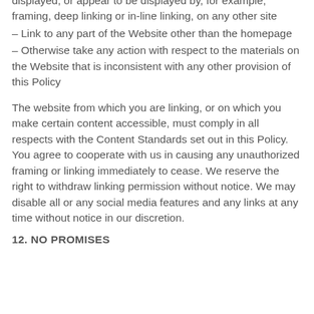– cause the website or portions of them to be displayed, or appear to be displayed by, for example, framing, deep linking or in-line linking, on any other site
– Link to any part of the Website other than the homepage
– Otherwise take any action with respect to the materials on the Website that is inconsistent with any other provision of this Policy
The website from which you are linking, or on which you make certain content accessible, must comply in all respects with the Content Standards set out in this Policy. You agree to cooperate with us in causing any unauthorized framing or linking immediately to cease. We reserve the right to withdraw linking permission without notice. We may disable all or any social media features and any links at any time without notice in our discretion.
12. NO PROMISES